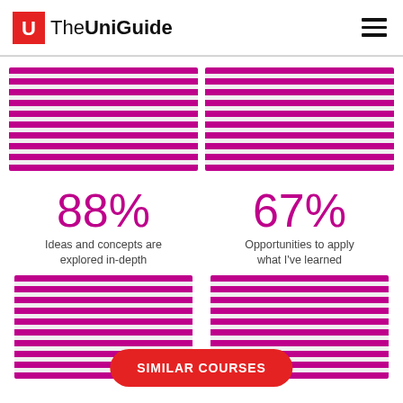[Figure (logo): The UniGuide logo with red U icon and text 'TheUniGuide']
[Figure (infographic): Top-left striped magenta/grey horizontal lines block]
[Figure (infographic): Top-right striped magenta/grey horizontal lines block]
88%
Ideas and concepts are explored in-depth
67%
Opportunities to apply what I've learned
[Figure (infographic): Bottom-left striped magenta/grey horizontal lines block]
[Figure (infographic): Bottom-right striped magenta/grey horizontal lines block]
SIMILAR COURSES